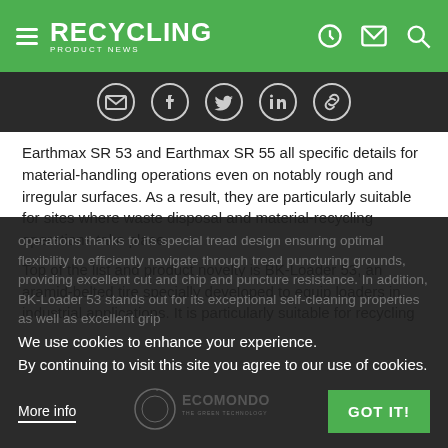RECYCLING PRODUCT NEWS
[Figure (infographic): Social share icons: email, Facebook, Twitter, LinkedIn, link]
Earthmax SR 53 and Earthmax SR 55 all specific details for material-handling operations even on notably rough and irregular surfaces. As a result, they are particularly suitable for sites where waste disposal and material-recycling operations take place.
Top of the list and product novelty is BK-Loader 53, an aramid-belted tire specially developed to equip loaders in industrial applications. It is particularly suitable for recycling operations thanks to its special tread design ensuring optimal flexibility to efficiently navigate through tread puncturing grounds, providing excellent cut and chip and puncture resistance. In addition, BK-Loader 53 stands out for its exceptional self-cleaning properties as well as excellent grip
We use cookies to enhance your experience. By continuing to visit this site you agree to our use of cookies.
[Figure (logo): Ecomondo The Green Technology logo]
More info
GOT IT!